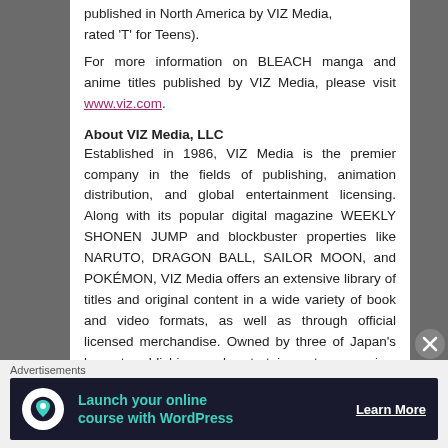published in North America by VIZ Media, rated 'T' for Teens).
For more information on BLEACH manga and anime titles published by VIZ Media, please visit www.viz.com.
About VIZ Media, LLC
Established in 1986, VIZ Media is the premier company in the fields of publishing, animation distribution, and global entertainment licensing. Along with its popular digital magazine WEEKLY SHONEN JUMP and blockbuster properties like NARUTO, DRAGON BALL, SAILOR MOON, and POKÉMON, VIZ Media offers an extensive library of titles and original content in a wide variety of book and video formats, as well as through official licensed merchandise. Owned by three of Japan's largest publishing and entertainment companies, Shueisha Inc., Shogakukan Inc. and Shogakukan...
Advertisements
[Figure (other): Advertisement banner: Launch your online course with WordPress. Learn More button. Dark background with teal text and tree/person icon.]